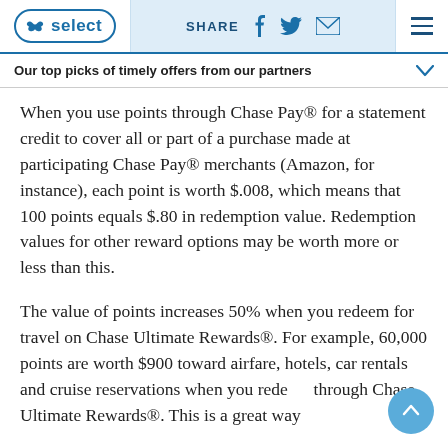NBC Select | SHARE [social icons] [menu]
Our top picks of timely offers from our partners
When you use points through Chase Pay® for a statement credit to cover all or part of a purchase made at participating Chase Pay® merchants (Amazon, for instance), each point is worth $.008, which means that 100 points equals $.80 in redemption value. Redemption values for other reward options may be worth more or less than this.
The value of points increases 50% when you redeem for travel on Chase Ultimate Rewards®. For example, 60,000 points are worth $900 toward airfare, hotels, car rentals and cruise reservations when you redeem through Chase Ultimate Rewards®. This is a great way